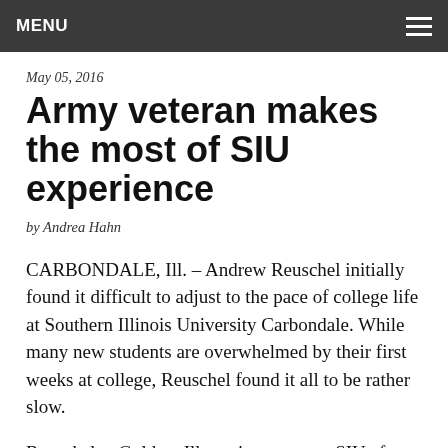MENU
May 05, 2016
Army veteran makes the most of SIU experience
by Andrea Hahn
CARBONDALE, Ill. – Andrew Reuschel initially found it difficult to adjust to the pace of college life at Southern Illinois University Carbondale. While many new students are overwhelmed by their first weeks at college, Reuschel found it all to be rather slow.
Reuschel, a Golden, Ill., native, came to SIU after serving in the U. S. Army. He said the experience